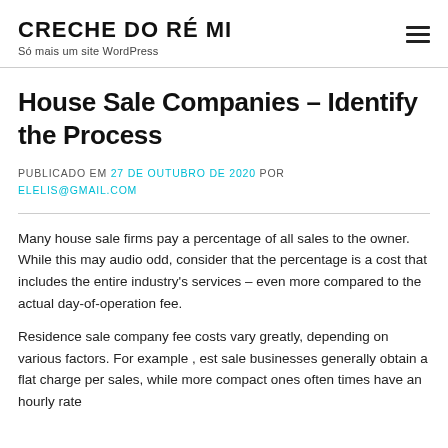CRECHE DO RÉ MI
Só mais um site WordPress
House Sale Companies – Identify the Process
PUBLICADO EM 27 DE OUTUBRO DE 2020 POR ELELIS@GMAIL.COM
Many house sale firms pay a percentage of all sales to the owner. While this may audio odd, consider that the percentage is a cost that includes the entire industry's services – even more compared to the actual day-of-operation fee.
Residence sale company fee costs vary greatly, depending on various factors. For example , est sale businesses generally obtain a flat charge per sales, while more compact ones often times have an hourly rate